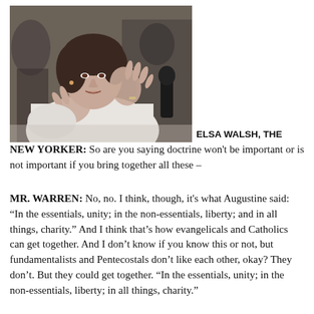[Figure (photo): A woman with dark hair wearing a white top, gesturing with both hands raised, seated at what appears to be a conference or panel discussion. Other people are visible in the background.]
ELSA WALSH, THE NEW YORKER: So are you saying doctrine won't be important or is not important if you bring together all these –
MR. WARREN: No, no. I think, though, it's what Augustine said: "In the essentials, unity; in the non-essentials, liberty; and in all things, charity." And I think that's how evangelicals and Catholics can get together. And I don't know if you know this or not, but fundamentalists and Pentecostals don't like each other, okay? They don't. But they could get together. "In the essentials, unity; in the non-essentials, liberty; in all things, charity."